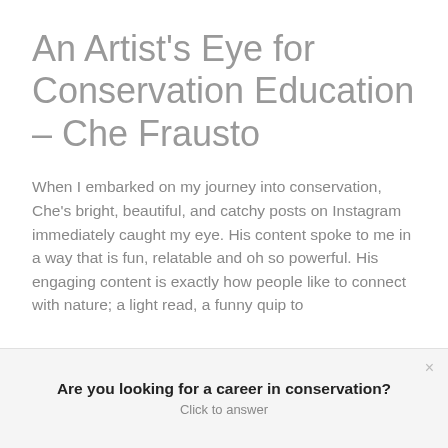An Artist's Eye for Conservation Education – Che Frausto
When I embarked on my journey into conservation, Che's bright, beautiful, and catchy posts on Instagram immediately caught my eye. His content spoke to me in a way that is fun, relatable and oh so powerful. His engaging content is exactly how people like to connect with nature; a light read, a funny quip to
Are you looking for a career in conservation?
Click to answer